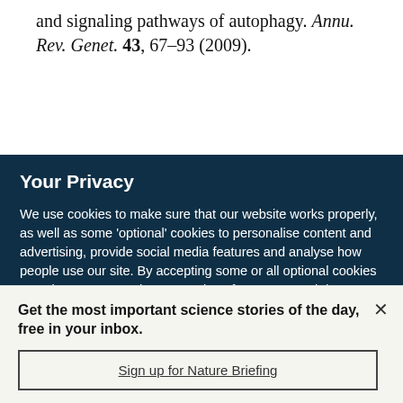and signaling pathways of autophagy. Annu. Rev. Genet. 43, 67–93 (2009).
Your Privacy
We use cookies to make sure that our website works properly, as well as some 'optional' cookies to personalise content and advertising, provide social media features and analyse how people use our site. By accepting some or all optional cookies you give consent to the processing of your personal data, including transfer to third parties, some in countries outside of the European Economic Area that do not offer the same data protection standards as the country where you live. You can decide which optional cookies to accept by clicking on 'Manage Settings', where you can
Get the most important science stories of the day, free in your inbox.
Sign up for Nature Briefing